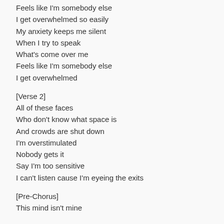Feels like I'm somebody else
I get overwhelmed so easily
My anxiety keeps me silent
When I try to speak
What's come over me
Feels like I'm somebody else
I get overwhelmed
[Verse 2]
All of these faces
Who don't know what space is
And crowds are shut down
I'm overstimulated
Nobody gets it
Say I'm too sensitive
I can't listen cause I'm eyeing the exits
[Pre-Chorus]
This mind isn't mine